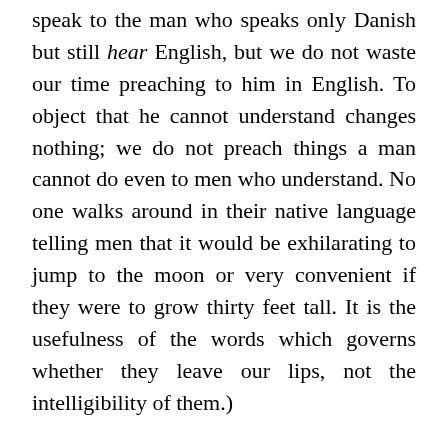speak to the man who speaks only Danish but still hear English, but we do not waste our time preaching to him in English. To object that he cannot understand changes nothing; we do not preach things a man cannot do even to men who understand. No one walks around in their native language telling men that it would be exhilarating to jump to the moon or very convenient if they were to grow thirty feet tall. It is the usefulness of the words which governs whether they leave our lips, not the intelligibility of them.)
So why on earth do determinist philosophers preach determinism? The answer, suggests my friend, and I suspect he's right, is that they don't mean it. What they actually mean is a metaphor...